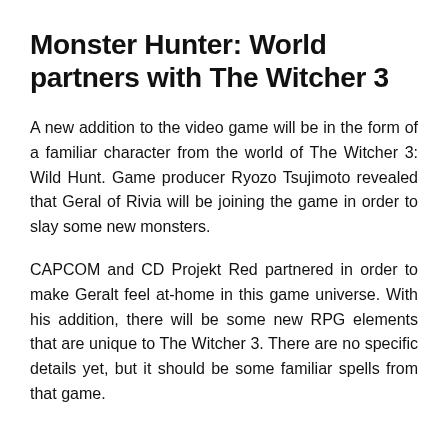Monster Hunter: World partners with The Witcher 3
A new addition to the video game will be in the form of a familiar character from the world of The Witcher 3: Wild Hunt. Game producer Ryozo Tsujimoto revealed that Geral of Rivia will be joining the game in order to slay some new monsters.
CAPCOM and CD Projekt Red partnered in order to make Geralt feel at-home in this game universe. With his addition, there will be some new RPG elements that are unique to The Witcher 3. There are no specific details yet, but it should be some familiar spells from that game.